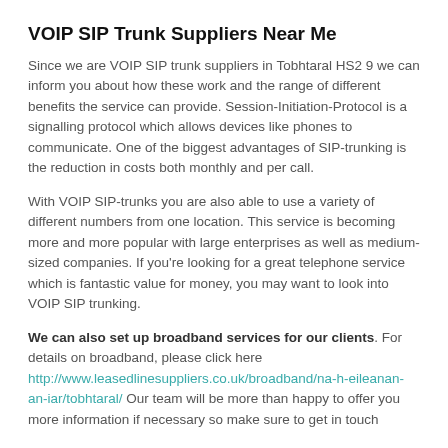VOIP SIP Trunk Suppliers Near Me
Since we are VOIP SIP trunk suppliers in Tobhtaral HS2 9 we can inform you about how these work and the range of different benefits the service can provide. Session-Initiation-Protocol is a signalling protocol which allows devices like phones to communicate. One of the biggest advantages of SIP-trunking is the reduction in costs both monthly and per call.
With VOIP SIP-trunks you are also able to use a variety of different numbers from one location. This service is becoming more and more popular with large enterprises as well as medium-sized companies. If you're looking for a great telephone service which is fantastic value for money, you may want to look into VOIP SIP trunking.
We can also set up broadband services for our clients. For details on broadband, please click here http://www.leasedlinesuppliers.co.uk/broadband/na-h-eileanan-an-iar/tobhtaral/ Our team will be more than happy to offer you more information if necessary so make sure to get in touch